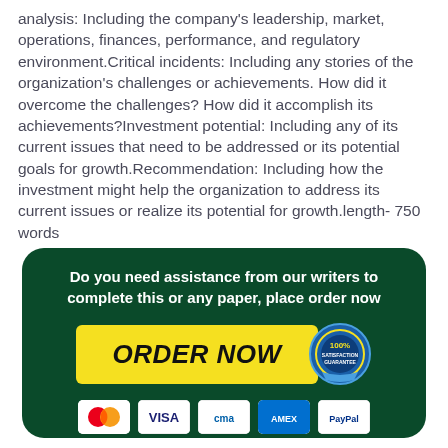analysis: Including the company's leadership, market, operations, finances, performance, and regulatory environment.Critical incidents: Including any stories of the organization's challenges or achievements. How did it overcome the challenges? How did it accomplish its achievements?Investment potential: Including any of its current issues that need to be addressed or its potential goals for growth.Recommendation: Including how the investment might help the organization to address its current issues or realize its potential for growth.length- 750 words
[Figure (infographic): Dark green rounded banner with white bold text 'Do you need assistance from our writers to complete this or any paper, place order now', a yellow ORDER NOW button, a 100% satisfaction guarantee badge, and payment icons (Mastercard, VISA, Cima, AMEX, PayPal)]